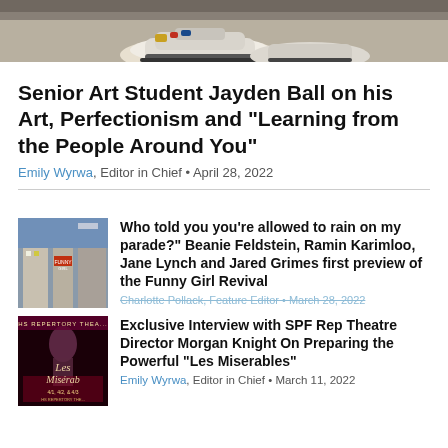[Figure (photo): Cropped photo showing the bottom portion of a person wearing sneakers, standing on a tiled floor]
Senior Art Student Jayden Ball on his Art, Perfectionism and “Learning from the People Around You”
Emily Wyrwa, Editor in Chief • April 28, 2022
[Figure (photo): Photo of a Broadway street scene with a Funny Girl marquee sign visible on a building]
Who told you you’re allowed to rain on my parade?” Beanie Feldstein, Ramin Karimloo, Jane Lynch and Jared Grimes first preview of the Funny Girl Revival
Charlotte Pollack, Feature Editor • March 28, 2022
[Figure (photo): Thumbnail image for Les Miserables SPF Rep Theatre show poster with red and dark styling]
Exclusive Interview with SPF Rep Theatre Director Morgan Knight On Preparing the Powerful “Les Miserables”
Emily Wyrwa, Editor in Chief • March 11, 2022